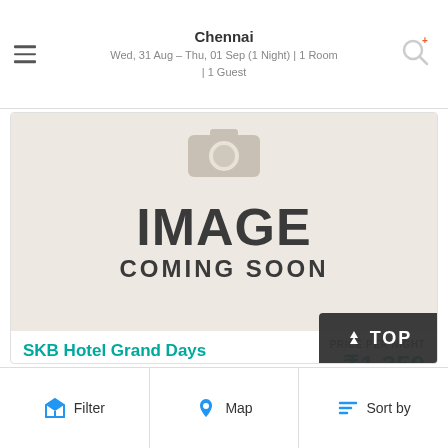Chennai
Wed, 31 Aug – Thu, 01 Sep (1 Night) | 1 Room | 1 Guest
[Figure (screenshot): Image coming soon placeholder with camera icon and large text 'IMAGE COMING SOON' on a beige background]
SKB Hotel Grand Days
Periamet, Chennai  Get Directions
★★★☆☆
PRICE PER NIGHT
₹1,350
Choose
Filter   Map   Sort by